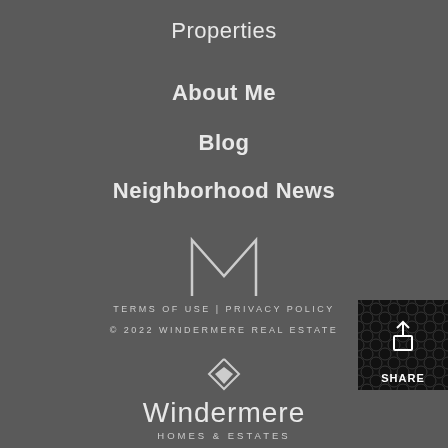Properties
About Me
Blog
Neighborhood News
[Figure (logo): Stylized M logo mark in outline style, white on dark gray background]
TERMS OF USE | PRIVACY POLICY
© 2022 WINDERMERE REAL ESTATE
[Figure (other): Share button with upload/share icon on dark patterned background with text SHARE]
[Figure (logo): Windermere Homes & Estates logo with diamond/chevron icon and wordmark]